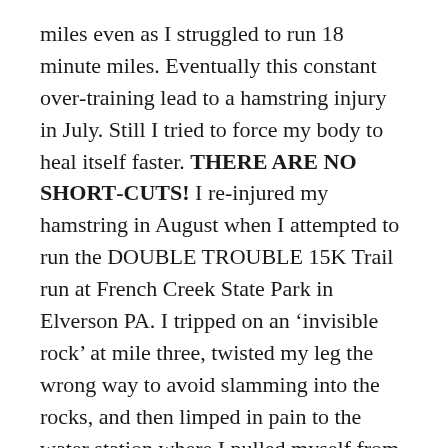miles even as I struggled to run 18 minute miles. Eventually this constant over-training lead to a hamstring injury in July. Still I tried to force my body to heal itself faster. THERE ARE NO SHORT-CUTS! I re-injured my hamstring in August when I attempted to run the DOUBLE TROUBLE 15K Trail run at French Creek State Park in Elverson PA. I tripped on an ‘invisible rock’ at mile three, twisted my leg the wrong way to avoid slamming into the rocks, and then limped in pain to the water station where I pulled myself from the race. My first DNF (did not finish).  Last month, I forced myself to run The Bird-in-Hand half-marathon. I struggled the final four miles, but I did actually finish. Dead last, 1169 out of 1169.